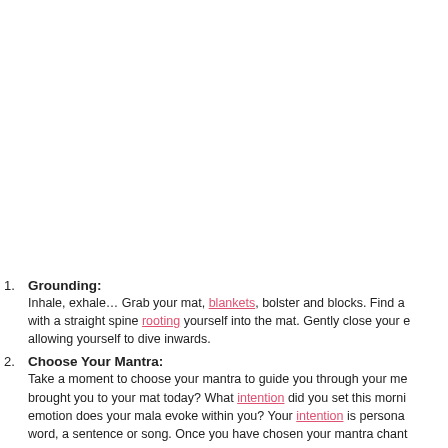1. Grounding: Inhale, exhale… Grab your mat, blankets, bolster and blocks. Find a with a straight spine rooting yourself into the mat. Gently close your e allowing yourself to dive inwards.
2. Choose Your Mantra: Take a moment to choose your mantra to guide you through your me brought you to your mat today? What intention did you set this morni emotion does your mala evoke within you? Your intention is persona word, a sentence or song. Once you have chosen your mantra chant
3. Japa Meditation: